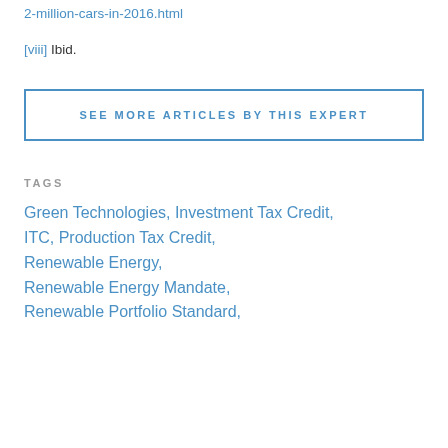2-million-cars-in-2016.html
[viii] Ibid.
SEE MORE ARTICLES BY THIS EXPERT
TAGS
Green Technologies, Investment Tax Credit, ITC, Production Tax Credit, Renewable Energy, Renewable Energy Mandate, Renewable Portfolio Standard,